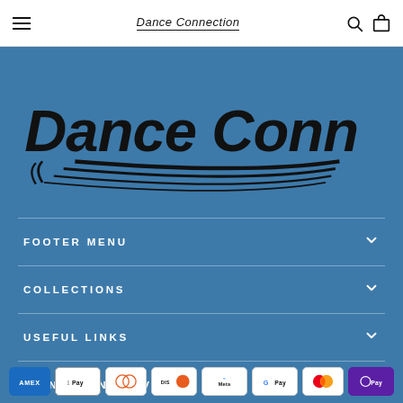Dance Connection — navigation bar with hamburger menu, logo, search and cart icons
[Figure (logo): Dance Connection logo on steel blue background — large italic bold text 'Dance Connection' with decorative wing/swoosh lines underneath]
FOOTER MENU | COLLECTIONS | USEFUL LINKS | SIGN UP AND SAVE — accordion sections with payment icons: AMEX, Apple Pay, Diners, Discover, Meta, Google Pay, Mastercard, OPay